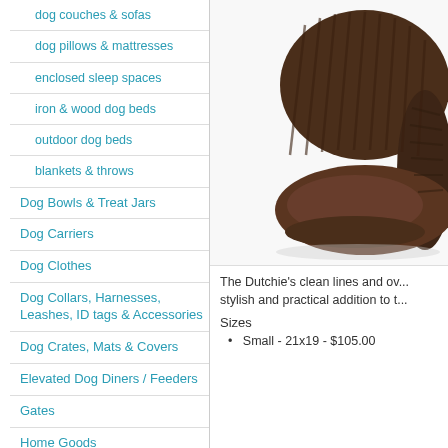dog couches & sofas
dog pillows & mattresses
enclosed sleep spaces
iron & wood dog beds
outdoor dog beds
blankets & throws
Dog Bowls & Treat Jars
Dog Carriers
Dog Clothes
Dog Collars, Harnesses, Leashes, ID tags & Accessories
Dog Crates, Mats & Covers
Elevated Dog Diners / Feeders
Gates
Home Goods
In Memory Of
Personalized Dog Products
Puppy Supplies
Sale
Seasonal & Special Occasion
Toys & Toy Boxes
[Figure (photo): Brown corduroy dog sofa/couch bed with ribbed texture and padded armrests]
The Dutchie's clean lines and ov... stylish and practical addition to t...
Sizes
Small - 21x19 - $105.00